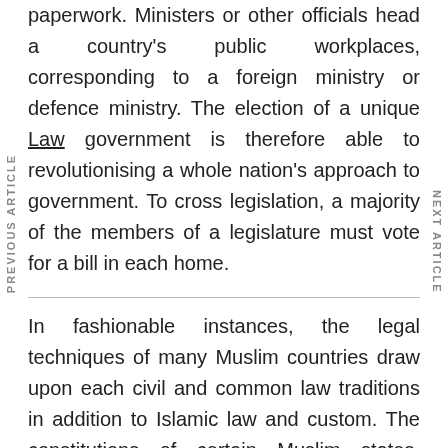paperwork. Ministers or other officials head a country's public workplaces, corresponding to a foreign ministry or defence ministry. The election of a unique Law government is therefore able to revolutionising a whole nation's approach to government. To cross legislation, a majority of the members of a legislature must vote for a bill in each home.
In fashionable instances, the legal techniques of many Muslim countries draw upon each civil and common law traditions in addition to Islamic law and custom. The constitutions of certain Muslim states, similar to Egypt and Afghanistan, recognise Islam as the faith of the state, obliging legislature to adhere to Sharia.
PREVIOUS ARTICLE
NEXT ARTICLE